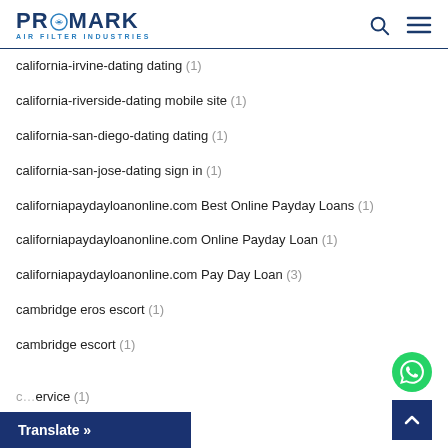PROMARK AIR FILTER INDUSTRIES
california-irvine-dating dating (1)
california-riverside-dating mobile site (1)
california-san-diego-dating dating (1)
california-san-jose-dating sign in (1)
californiapaydayloanonline.com Best Online Payday Loans (1)
californiapaydayloanonline.com Online Payday Loan (1)
californiapaydayloanonline.com Pay Day Loan (3)
cambridge eros escort (1)
cambridge escort (1)
…service (1)